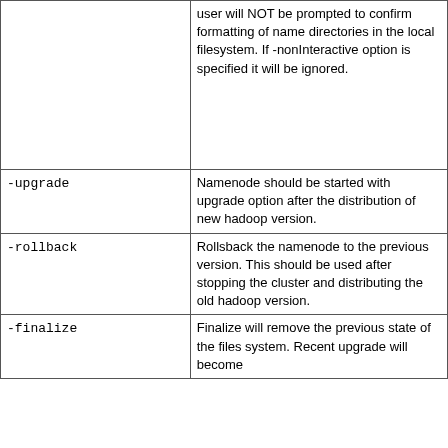| Option | Description |
| --- | --- |
|  | user will NOT be prompted to confirm formatting of name directories in the local filesystem. If -nonInteractive option is specified it will be ignored. |
| -upgrade | Namenode should be started with upgrade option after the distribution of new hadoop version. |
| -rollback | Rollsback the namenode to the previous version. This should be used after stopping the cluster and distributing the old hadoop version. |
| -finalize | Finalize will remove the previous state of the files system. Recent upgrade will become |